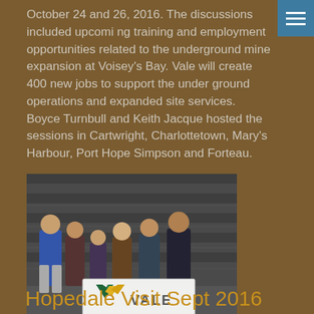October 24 and 26, 2016. The discussions included upcoming training and employment opportunities related to the underground mine expansion at Voisey's Bay. Vale will create 400 new jobs to support the under ground operations and expanded site services. Boyce Turnbull and Keith Jacque hosted the sessions in Cartwright, Charlottetown, Mary's Harbour, Port Hope Simpson and Forteau.
[Figure (photo): Group photo of approximately 6 people holding a Vale company banner/flag with the Vale logo (green and yellow checkmark/V shape) in an industrial setting with metal roll-up doors in the background.]
Hopedale Visit Sept 2016